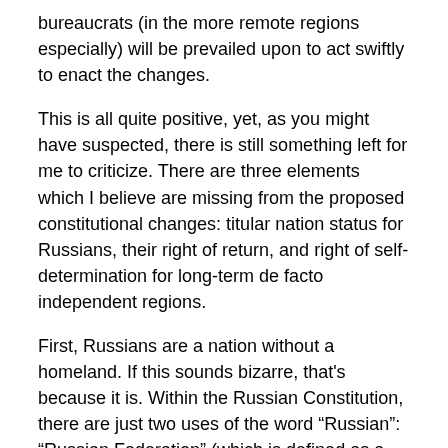bureaucrats (in the more remote regions especially) will be prevailed upon to act swiftly to enact the changes.
This is all quite positive, yet, as you might have suspected, there is still something left for me to criticize. There are three elements which I believe are missing from the proposed constitutional changes: titular nation status for Russians, their right of return, and right of self-determination for long-term de facto independent regions.
First, Russians are a nation without a homeland. If this sounds bizarre, that's because it is. Within the Russian Constitution, there are just two uses of the word “Russian”: “Russian Federation” (which is defined as a “multinational state,” and “Russian language,” which is its official language alongside numerous others, but there is no mention of “Russian people.” Ethnic Russians make up